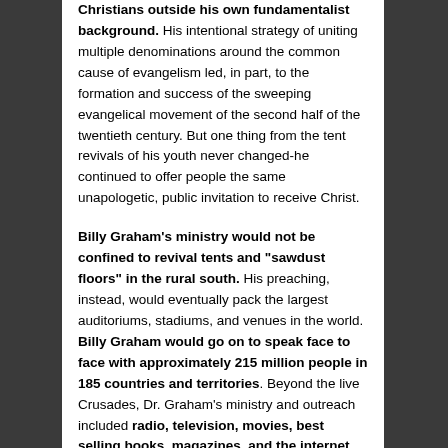Christians outside his own fundamentalist background. His intentional strategy of uniting multiple denominations around the common cause of evangelism led, in part, to the formation and success of the sweeping evangelical movement of the second half of the twentieth century. But one thing from the tent revivals of his youth never changed-he continued to offer people the same unapologetic, public invitation to receive Christ.
Billy Graham's ministry would not be confined to revival tents and "sawdust floors" in the rural south. His preaching, instead, would eventually pack the largest auditoriums, stadiums, and venues in the world. Billy Graham would go on to speak face to face with approximately 215 million people in 185 countries and territories. Beyond the live Crusades, Dr. Graham's ministry and outreach included radio, television, movies, best selling books, magazines, and the internet. According to the Graham organization, more than 3 million people around the world have responded to the invitation, offered by Billy Graham, to receive Christ. Through all venues combined, he preached to more